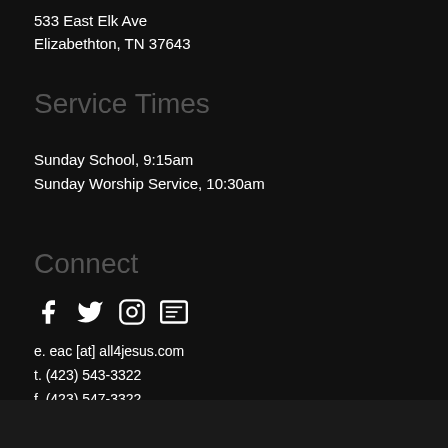533 East Elk Ave
Elizabethton, TN 37643
Service Times
Sunday School, 9:15am
Sunday Worship Service, 10:30am
Connect
[Figure (other): Social media icons: Facebook, Twitter, Instagram, and a newsletter/contact icon]
e. eac [at] all4jesus.com
t. (423) 543-3322
f. (423) 547-3322